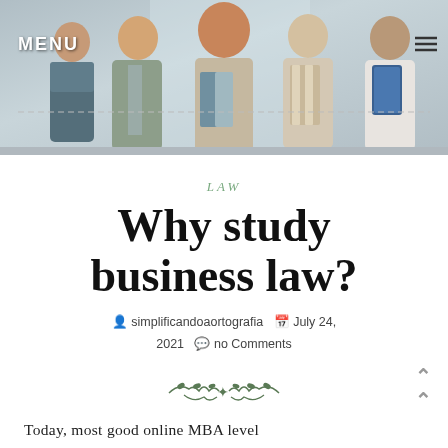[Figure (photo): Group of business professionals standing together, smiling, holding folders and binders. A 'MENU' navigation overlay appears in the top-left corner.]
LAW
Why study business law?
simplificandoaortografia  July 24, 2021  no Comments
Today, most good online MBA level